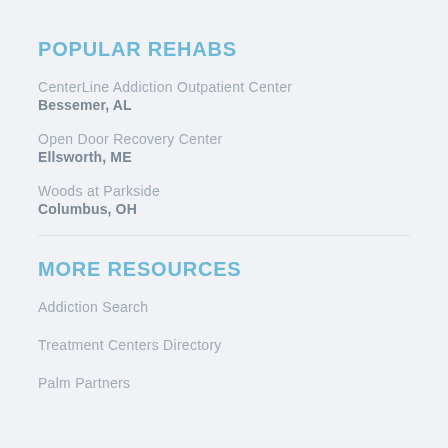POPULAR REHABS
CenterLine Addiction Outpatient Center
Bessemer, AL
Open Door Recovery Center
Ellsworth, ME
Woods at Parkside
Columbus, OH
MORE RESOURCES
Addiction Search
Treatment Centers Directory
Palm Partners